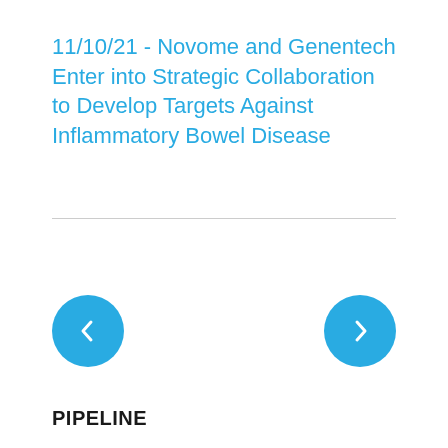11/10/21 - Novome and Genentech Enter into Strategic Collaboration to Develop Targets Against Inflammatory Bowel Disease
[Figure (other): Left navigation arrow button (chevron left) in a blue circle]
[Figure (other): Right navigation arrow button (chevron right) in a blue circle]
PIPELINE